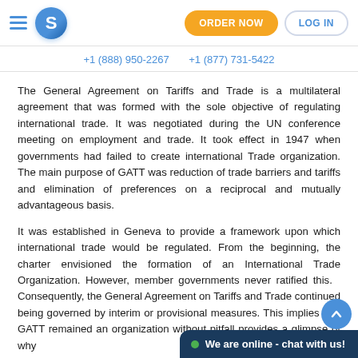S | ORDER NOW | LOG IN
+1 (888) 950-2267   +1 (877) 731-5422
The General Agreement on Tariffs and Trade is a multilateral agreement that was formed with the sole objective of regulating international trade. It was negotiated during the UN conference meeting on employment and trade. It took effect in 1947 when governments had failed to create international Trade organization. The main purpose of GATT was reduction of trade barriers and tariffs and elimination of preferences on a reciprocal and mutually advantageous basis.
It was established in Geneva to provide a framework upon which international trade would be regulated. From the beginning, the charter envisioned the formation of an International Trade Organization. However, member governments never ratified this. Consequently, the General Agreement on Tariffs and Trade continued being governed by interim or provisional measures. This implies that GATT remained an organization withou... pitfall provides a glimpse of why...